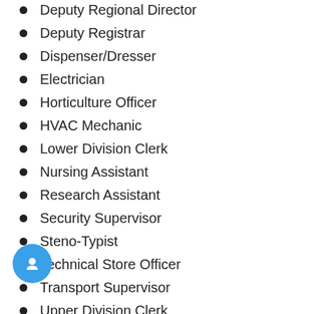Deputy Regional Director
Deputy Registrar
Dispenser/Dresser
Electrician
Horticulture Officer
HVAC Mechanic
Lower Division Clerk
Nursing Assistant
Research Assistant
Security Supervisor
Steno-Typist
Technical Store Officer
Transport Supervisor
Upper Division Clerk
How to Apply Online for Allama Iqbal Open University AIOU Jobs 2022?